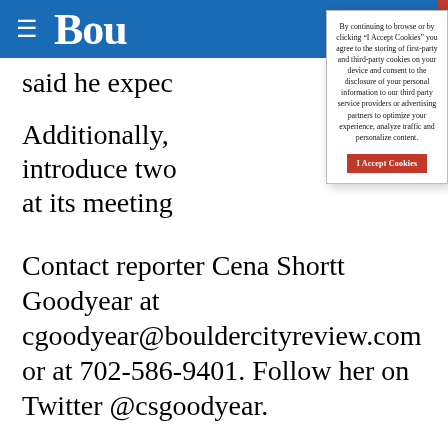≡ Bou
said he expec
Additionally, introduce two at its meeting
[Figure (screenshot): Cookie consent modal overlay with text: By continuing to browse or by clicking “I Accept Cookies” you agree to the storing of first-party and third-party cookies on your device and consent to the disclosure of your personal information to our third party service providers or advertising partners to optimize your experience, analyze traffic and personalize content. Button: I Accept Cookies]
Contact reporter Cena Shortt Goodyear at cgoodyear@bouldercityreview.com or at 702-586-9401. Follow her on Twitter @csgoodyear.